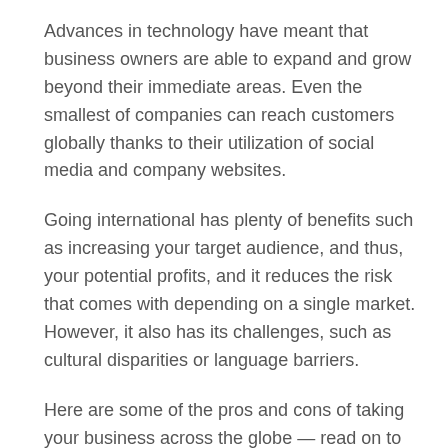Advances in technology have meant that business owners are able to expand and grow beyond their immediate areas. Even the smallest of companies can reach customers globally thanks to their utilization of social media and company websites.
Going international has plenty of benefits such as increasing your target audience, and thus, your potential profits, and it reduces the risk that comes with depending on a single market. However, it also has its challenges, such as cultural disparities or language barriers.
Here are some of the pros and cons of taking your business across the globe — read on to find out more.
The Cons